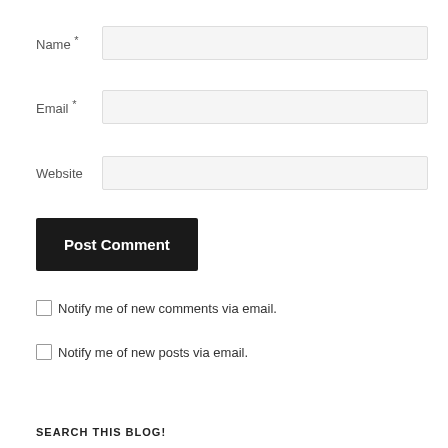Name *
Email *
Website
Post Comment
Notify me of new comments via email.
Notify me of new posts via email.
SEARCH THIS BLOG!